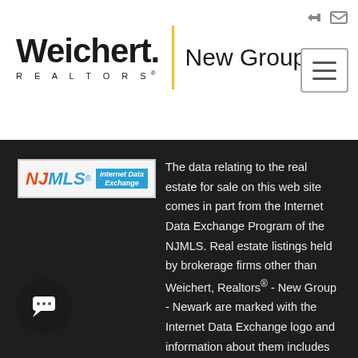[Figure (logo): Weichert Realtors New Group logo with yellow vertical divider]
The data relating to the real estate for sale on this web site comes in part from the Internet Data Exchange Program of the NJMLS. Real estate listings held by brokerage firms other than Weichert, Realtors® - New Group - Newark are marked with the Internet Data Exchange logo and information about them includes the name of the listing brokers. Some properties listed with the participating brokers do not appear on this website at the request of the seller. Listings of brokers that do not participate in Internet Data Exchange do not appear on this website. All